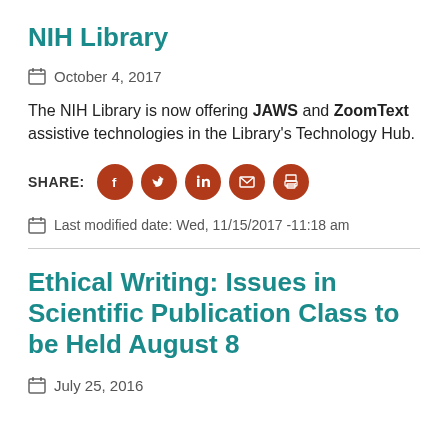NIH Library
October 4, 2017
The NIH Library is now offering JAWS and ZoomText assistive technologies in the Library's Technology Hub.
[Figure (infographic): SHARE: row of 5 social media icons (Facebook, Twitter, LinkedIn, Email, Print) in dark red circles]
Last modified date: Wed, 11/15/2017 -11:18 am
Ethical Writing: Issues in Scientific Publication Class to be Held August 8
July 25, 2016